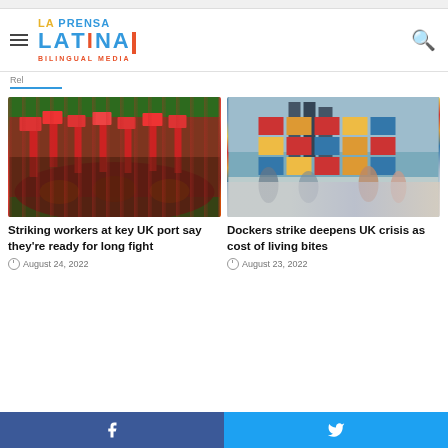La Prensa Latina Bilingual Media
Rel...
[Figure (photo): Crowd of striking workers waving red flags outdoors]
Striking workers at key UK port say they're ready for long fight
August 24, 2022
[Figure (photo): Port with stacked shipping containers in red, yellow and blue, with people walking in foreground]
Dockers strike deepens UK crisis as cost of living bites
August 23, 2022
Facebook | Twitter